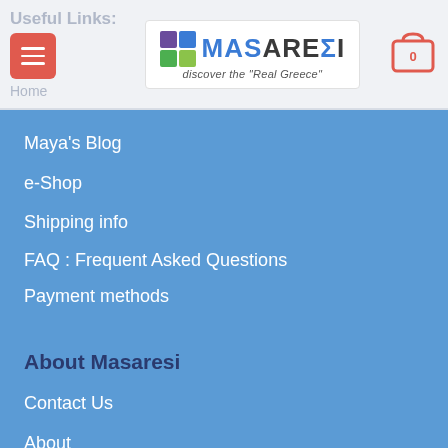Useful Links: [hamburger menu] Home | MASARESI discover the "Real Greece" | [cart 0]
Maya's Blog
e-Shop
Shipping info
FAQ : Frequent Asked Questions
Payment methods
About Masaresi
Contact Us
About
Terms of Use
Privacy Policy